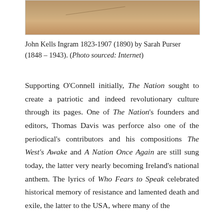[Figure (photo): Bottom portion of a portrait photograph, showing a sepia/aged background texture]
John Kells Ingram 1823-1907 (1890) by Sarah Purser (1848 – 1943). (Photo sourced: Internet)
Supporting O’Connell initially, The Nation sought to create a patriotic and indeed revolutionary culture through its pages. One of The Nation’s founders and editors, Thomas Davis was perforce also one of the periodical’s contributors and his compositions The West’s Awake and A Nation Once Again are still sung today, the latter very nearly becoming Ireland’s national anthem. The lyrics of Who Fears to Speak celebrated historical memory of resistance and lamented death and exile, the latter to the USA, where many of the